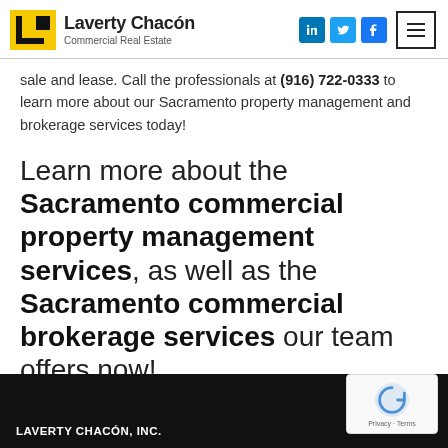Laverty Chacón — Commercial Real Estate
sale and lease. Call the professionals at (916) 722-0333 to learn more about our Sacramento property management and brokerage services today!
Learn more about the Sacramento commercial property management services, as well as the Sacramento commercial brokerage services our team offers now!
LAVERTY CHACÓN, INC.